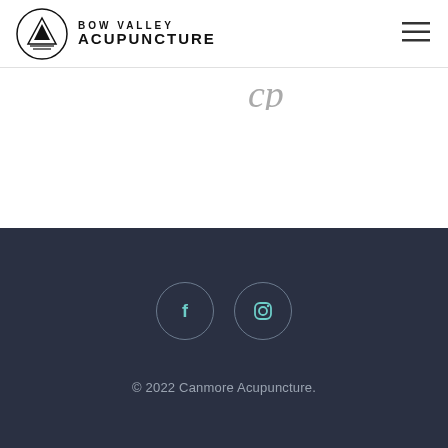[Figure (logo): Bow Valley Acupuncture logo: circular emblem with mountain/triangle and horizontal lines, beside text 'BOW VALLEY ACUPUNCTURE']
[Figure (other): Hamburger menu icon (three horizontal lines) in top right corner]
[Figure (other): Partial italic cursive text visible at top right of content area, partially cropped]
[Figure (other): Footer with Facebook and Instagram social media icons in circle outlines on dark navy background]
© 2022 Canmore Acupuncture.